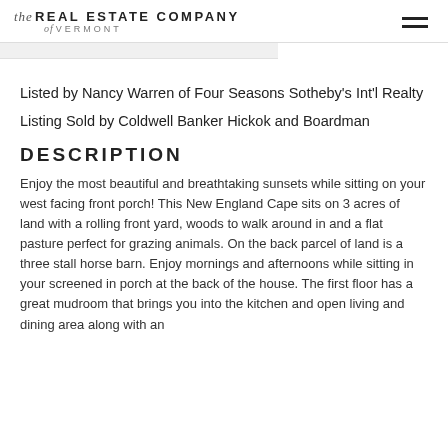the REAL ESTATE COMPANY of VERMONT
Listed by Nancy Warren of Four Seasons Sotheby's Int'l Realty
Listing Sold by Coldwell Banker Hickok and Boardman
DESCRIPTION
Enjoy the most beautiful and breathtaking sunsets while sitting on your west facing front porch! This New England Cape sits on 3 acres of land with a rolling front yard, woods to walk around in and a flat pasture perfect for grazing animals. On the back parcel of land is a three stall horse barn. Enjoy mornings and afternoons while sitting in your screened in porch at the back of the house. The first floor has a great mudroom that brings you into the kitchen and open living and dining area along with an